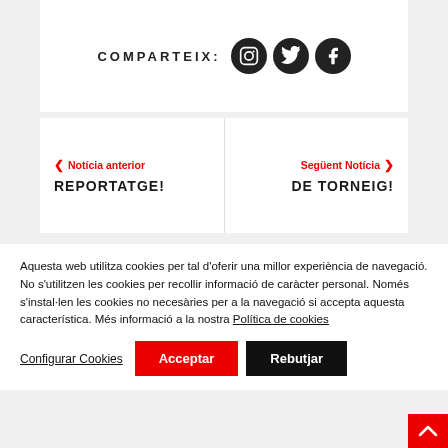COMPARTEIX: [Instagram] [Twitter] [Facebook]
< Notícia anterior REPORTATGE!
Següent Notícia > DE TORNEIG!
Aquesta web utilitza cookies per tal d'oferir una millor experiència de navegació. No s'utilitzen les cookies per recollir informació de caràcter personal. Només s'instal·len les cookies no necesàries per a la navegació si accepta aquesta característica. Més informació a la nostra Política de cookies
Configurar Cookies | Acceptar | Rebutjar